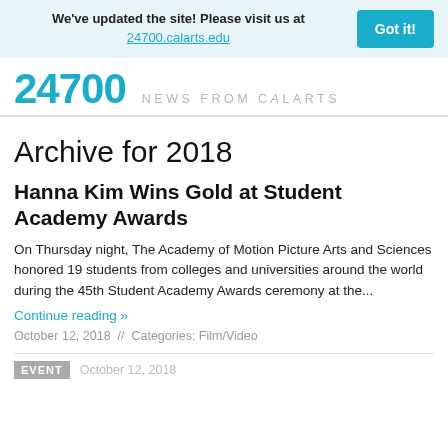We've updated the site! Please visit us at 24700.calarts.edu  Got it!
24700  NEWS FROM CalARTS
Archive for 2018
Hanna Kim Wins Gold at Student Academy Awards
On Thursday night, The Academy of Motion Picture Arts and Sciences honored 19 students from colleges and universities around the world during the 45th Student Academy Awards ceremony at the...
Continue reading »
October 12, 2018  //  Categories: Film/Video
EVENT  October 12, 2018